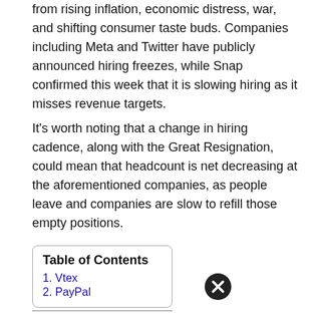from rising inflation, economic distress, war, and shifting consumer taste buds. Companies including Meta and Twitter have publicly announced hiring freezes, while Snap confirmed this week that it is slowing hiring as it misses revenue targets.
It's worth noting that a change in hiring cadence, along with the Great Resignation, could mean that headcount is net decreasing at the aforementioned companies, as people leave and companies are slow to refill those empty positions.
Table of Contents
1. Vtex
2. PayPal